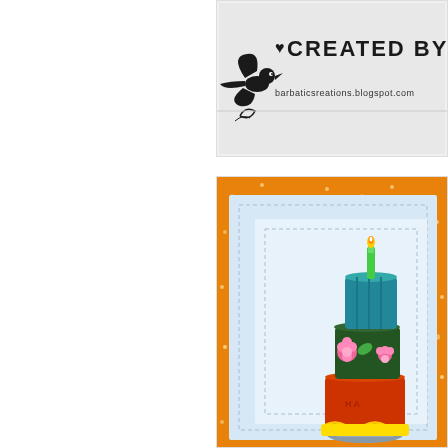[Figure (photo): Partial view of a blog logo/header in the top-right corner showing a decorative bird/butterfly silhouette and text 'CREATED BY BARB' with website URL 'barbaticsreations.blogspot.com']
[Figure (photo): Partial view of a handmade birthday card in the bottom-right corner featuring a colorful stacked birthday cake with candles on an orange glittery patterned background with light blue card layers and dashed border stitching. The cake has multiple tiers in red/orange, green, and teal/blue with pink flowers and a candle on top.]